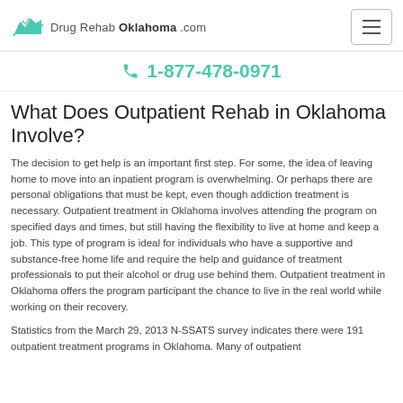Drug Rehab Oklahoma .com
1-877-478-0971
What Does Outpatient Rehab in Oklahoma Involve?
The decision to get help is an important first step. For some, the idea of leaving home to move into an inpatient program is overwhelming. Or perhaps there are personal obligations that must be kept, even though addiction treatment is necessary. Outpatient treatment in Oklahoma involves attending the program on specified days and times, but still having the flexibility to live at home and keep a job. This type of program is ideal for individuals who have a supportive and substance-free home life and require the help and guidance of treatment professionals to put their alcohol or drug use behind them. Outpatient treatment in Oklahoma offers the program participant the chance to live in the real world while working on their recovery.
Statistics from the March 29, 2013 N-SSATS survey indicates there were 191 outpatient treatment programs in Oklahoma. Many of outpatient